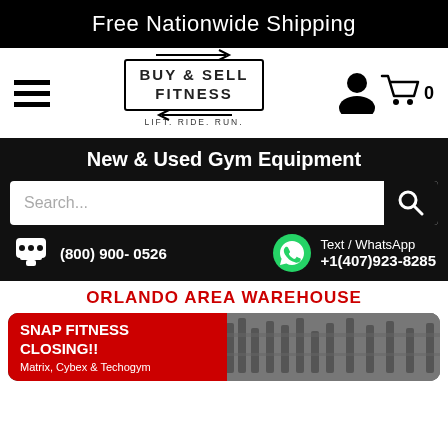Free Nationwide Shipping
[Figure (logo): Buy & Sell Fitness logo with arrows and tagline LIFT. RIDE. RUN.]
New & Used Gym Equipment
Search...
(800) 900- 0526
Text / WhatsApp +1(407)923-8285
ORLANDO AREA WAREHOUSE
[Figure (infographic): Snap Fitness Closing!! Matrix, Cybex & Techogym promo card with gym equipment photo]